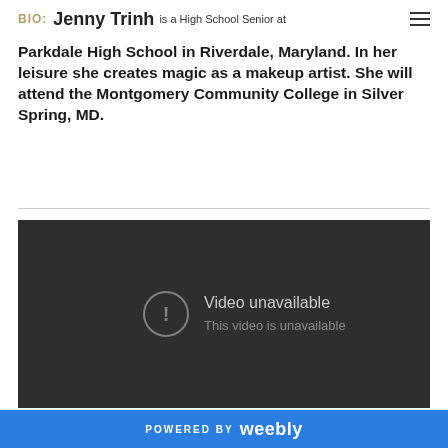Bio: Jenny Trinh is a High School Senior at Parkdale High School in Riverdale, Maryland. In her leisure she creates magic as a makeup artist. She will attend the Montgomery Community College in Silver Spring, MD.
Bio: Jenny Trinh is a High School Senior at Parkdale High School in Riverdale, Maryland. In her leisure she creates magic as a makeup artist. She will attend the Montgomery Community College in Silver Spring, MD.
[Figure (screenshot): Embedded video player showing 'Video unavailable - This video is unavailable' error message on a dark background.]
POWERED BY weebly